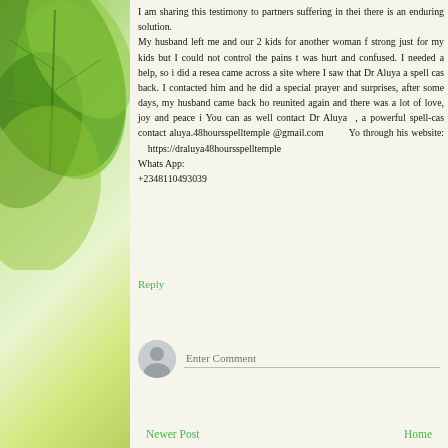[Figure (photo): Green leaves background on the left sidebar]
I am sharing this testimony to partners suffering in their relationships, there is an enduring solution. My husband left me and our 2 kids for another woman for 3 years, I tried to be strong just for my kids but I could not control the pains that torments my heart, I was hurt and confused. I needed a help, so i did a research on the internet and came across a site where I saw that Dr Aluya a spell caster, can help get lovers back. I contacted him and he did a special prayer and spells for me. To my surprises, after some days, my husband came back home. That was how we reunited again and there was a lot of love, joy and peace in the family. You can as well contact Dr Aluya , a powerful spell-caster for solutions. contact aluya.48hoursspelltemple @gmail.com  You can also reach him through his website: https://draluya48hoursspelltemple. Whats App: +2348110493039
Reply
Enter Comment
Newer Post    Home